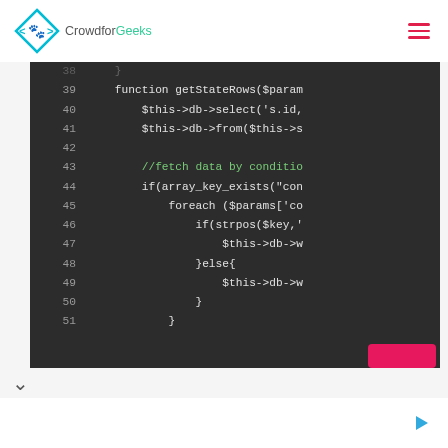[Figure (logo): CrowdforGeeks logo with diamond arrow shape in cyan/pink and site name]
[Figure (screenshot): Code editor screenshot showing PHP code lines 38-51, dark theme, with function getStateRows and database query methods]
Advertisement icon row at bottom